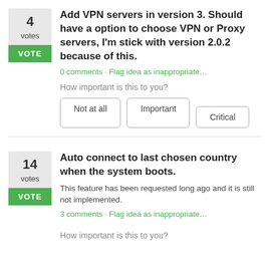Add VPN servers in version 3. Should have a option to choose VPN or Proxy servers, I'm stick with version 2.0.2 because of this.
4 votes
VOTE
0 comments  ·  Flag idea as inappropriate…
How important is this to you?
Not at all  Important  Critical
Auto connect to last chosen country when the system boots.
14 votes
VOTE
This feature has been requested long ago and it is still not implemented.
3 comments  ·  Flag idea as inappropriate…
How important is this to you?